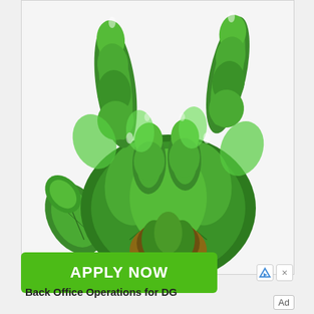[Figure (illustration): An illustration of a hand making a rock/ILY gesture, composed entirely of green leaves and cannabis-like plant material, on a light gray background.]
APPLY NOW
Ad
Back Office Operations for DG
Ad